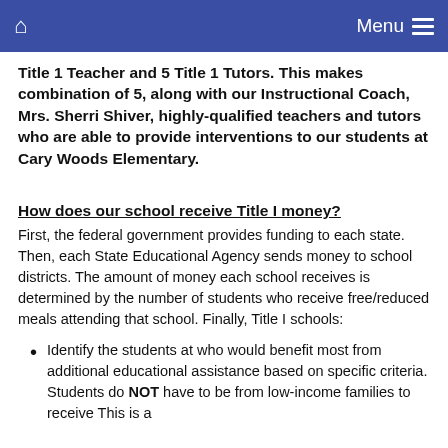Home  Menu
Title 1 Teacher and 5 Title 1 Tutors. This makes combination of 5, along with our Instructional Coach, Mrs. Sherri Shiver, highly-qualified teachers and tutors who are able to provide interventions to our students at Cary Woods Elementary.
How does our school receive Title I money?
First, the federal government provides funding to each state. Then, each State Educational Agency sends money to school districts. The amount of money each school receives is determined by the number of students who receive free/reduced meals attending that school. Finally, Title I schools:
Identify the students at who would benefit most from additional educational assistance based on specific criteria. Students do NOT have to be from low-income families to receive This is a